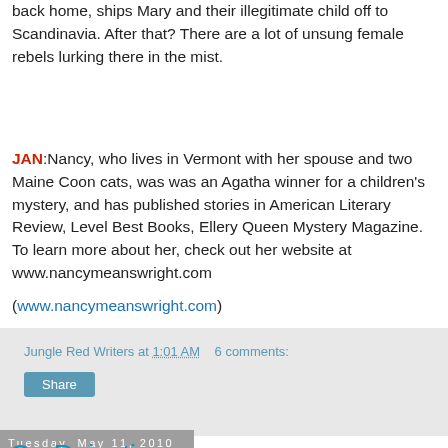back home, ships Mary and their illegitimate child off to Scandinavia. After that? There are a lot of unsung female rebels lurking there in the mist.
JAN: Nancy, who lives in Vermont with her spouse and two Maine Coon cats, was was an Agatha winner for a children's mystery, and has published stories in American Literary Review, Level Best Books, Ellery Queen Mystery Magazine. To learn more about her, check out her website at www.nancymeanswright.com
(www.nancymeanswright.com)
Jungle Red Writers at 1:01 AM   6 comments:
Tuesday, May 11, 2010
On Rejection